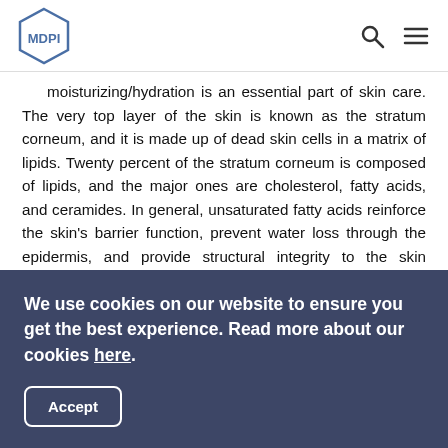MDPI
Moisturizing/hydration is an essential part of skin care. The very top layer of the skin is known as the stratum corneum, and it is made up of dead skin cells in a matrix of lipids. Twenty percent of the stratum corneum is composed of lipids, and the major ones are cholesterol, fatty acids, and ceramides. In general, unsaturated fatty acids reinforce the skin's barrier function, prevent water loss through the epidermis, and provide structural integrity to the skin against damage by external influences. They also help to soften and smooth the skin by promoting desquamation [13,14]. Certain ingredients have been shown to help moisturize the skin. Taking into account that ceramides are comprised of 50% of the lipid content in the stratum corneum, maintaining ceramide levels is crucial in
We use cookies on our website to ensure you get the best experience. Read more about our cookies here.
Accept